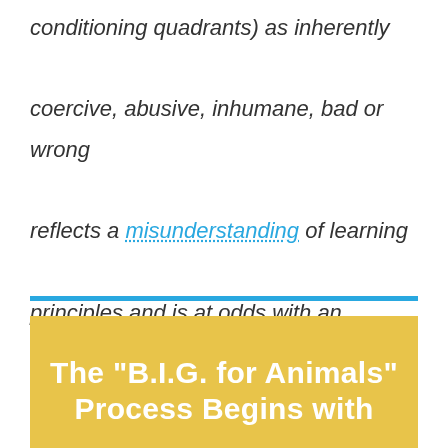conditioning quadrants) as inherently coercive, abusive, inhumane, bad or wrong reflects a misunderstanding of learning principles and is at odds with an evidence-based, objective approach.
The "B.I.G. for Animals" Process Begins with